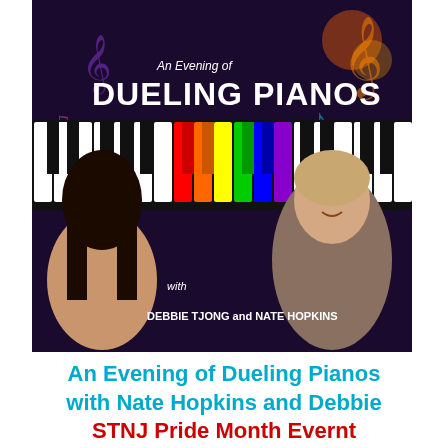[Figure (photo): Promotional banner for 'An Evening of Dueling Pianos' with rainbow-colored piano keys and photos of performers Debbie Tjong and Nate Hopkins on a dark background]
An Evening of Dueling Pianos with Nate Hopkins and Debbi STNJ Pride Month Ever
Hosted by Victoria Lace
Thu, June 17 at 7pm ET on Zoom
Presented by Savage Pianos